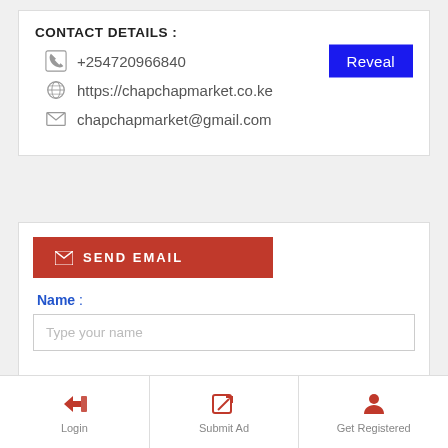CONTACT DETAILS :
+254720966840
https://chapchapmarket.co.ke
chapchapmarket@gmail.com
[Figure (screenshot): Blue 'Reveal' button on the right side of the phone number row]
[Figure (screenshot): Red 'SEND EMAIL' button with envelope icon]
Name :
Type your name
Login | Submit Ad | Get Registered